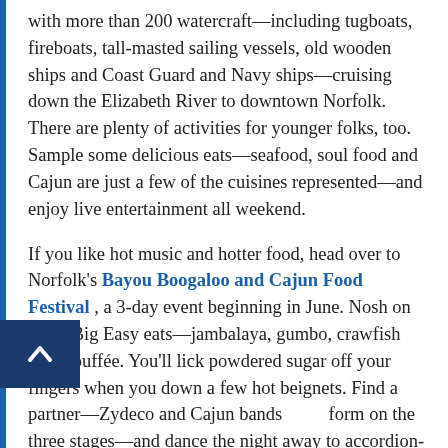with more than 200 watercraft—including tugboats, fireboats, tall-masted sailing vessels, old wooden ships and Coast Guard and Navy ships—cruising down the Elizabeth River to downtown Norfolk. There are plenty of activities for younger folks, too. Sample some delicious eats—seafood, soul food and Cajun are just a few of the cuisines represented—and enjoy live entertainment all weekend.
If you like hot music and hotter food, head over to Norfolk's Bayou Boogaloo and Cajun Food Festival , a 3-day event beginning in June. Nosh on some Big Easy eats—jambalaya, gumbo, crawfish and étouffée. You'll lick powdered sugar off your fingers when you down a few hot beignets. Find a partner—Zydeco and Cajun bands perform on the three stages—and dance the night away to accordion-squeezing, washboard-scraping, spoon-tapping tunes.